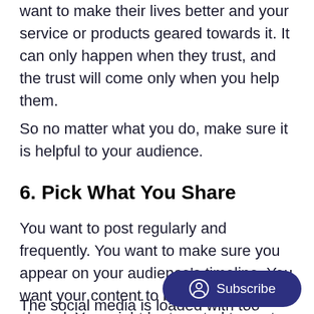want to make their lives better and your service or products geared towards it. It can only happen when they trust, and the trust will come only when you help them.
So no matter what you do, make sure it is helpful to your audience.
6. Pick What You Share
You want to post regularly and frequently. You want to make sure you appear on your audience's timeline. You want your content to be seen, liked, and shared. You might be tempted to post a lot hoping that it will help your cause. b to you.
The social media is loaded with too much of